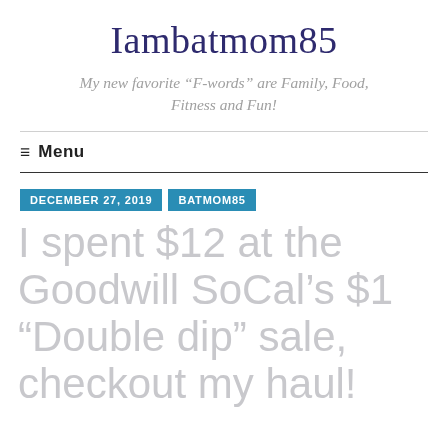Iambatmom85
My new favorite “F-words” are Family, Food, Fitness and Fun!
≡  Menu
DECEMBER 27, 2019
BATMOM85
I spent $12 at the Goodwill SoCal’s $1 “Double dip” sale, checkout my haul!